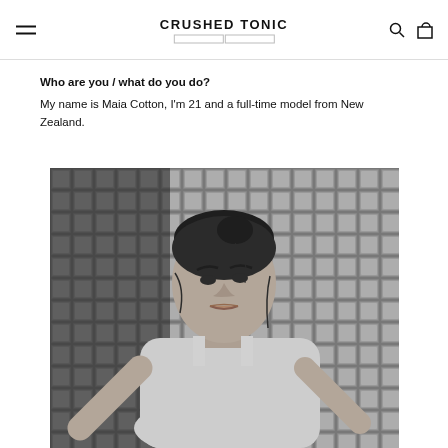CRUSHED TONIC
Who are you / what do you do?
My name is Maia Cotton, I'm 21 and a full-time model from New Zealand.
[Figure (photo): Black and white portrait photograph of a young woman with dark hair in an updo, wearing a white tank top, seated and leaning forward with a serious expression. Background shows a reflective metallic grid surface.]